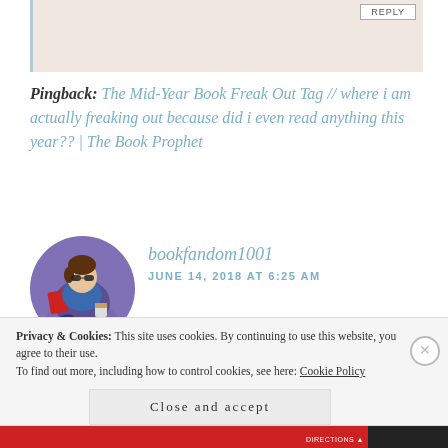[Figure (other): Beige comment block with REPLY button at top]
Pingback: The Mid-Year Book Freak Out Tag // where i am actually freaking out because did i even read anything this year?? | The Book Prophet
[Figure (illustration): Cartoon avatar of a person reading a book while sitting on a purple bean bag, wearing sunglasses]
bookfandom1001
JUNE 14, 2018 AT 6:25 AM
😂😂 totally agree
★ Liked by 1 person
Privacy & Cookies: This site uses cookies. By continuing to use this website, you agree to their use. To find out more, including how to control cookies, see here: Cookie Policy
Close and accept